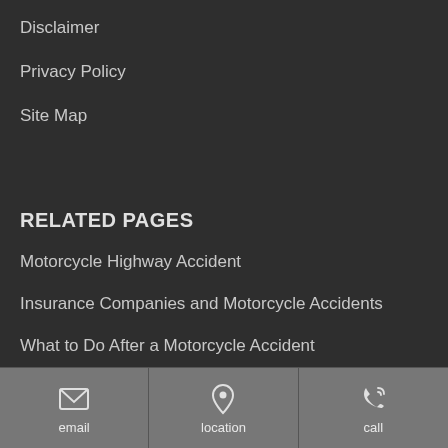Disclaimer
Privacy Policy
Site Map
RELATED PAGES
Motorcycle Highway Accident
Insurance Companies and Motorcycle Accidents
What to Do After a Motorcycle Accident
Motorcycle Safety
[Figure (infographic): Footer bar with three icon buttons: email (envelope icon), location (map pin icon), call (phone with signal icon)]